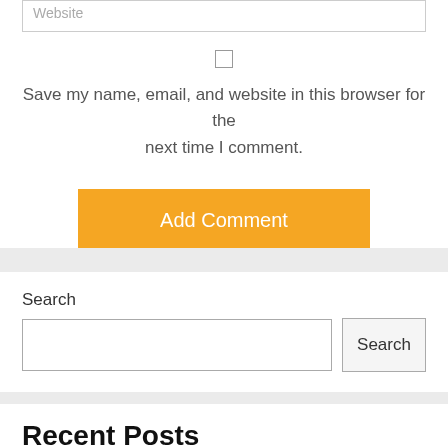Website
Save my name, email, and website in this browser for the next time I comment.
Add Comment
Search
Search
Recent Posts
IRC Section 304 (What is IRC section 304)